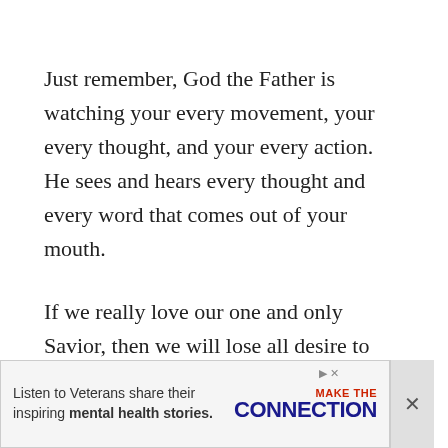Just remember, God the Father is watching your every movement, your every thought, and your every action. He sees and hears every thought and every word that comes out of your mouth.
If we really love our one and only Savior, then we will lose all desire to want to cuss, curse, or swear in His sight. It’s not only offensive to Him, but it’s also offensive to anyone else who may be around you when you start spouting off.
5. God Will Judge You By Your Words
[Figure (other): Advertisement banner: 'Listen to Veterans share their inspiring mental health stories. MAKE THE CONNECTION']